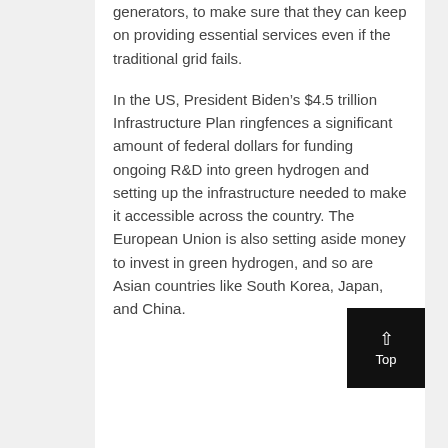generators, to make sure that they can keep on providing essential services even if the traditional grid fails.
In the US, President Biden's $4.5 trillion Infrastructure Plan ringfences a significant amount of federal dollars for funding ongoing R&D into green hydrogen and setting up the infrastructure needed to make it accessible across the country. The European Union is also setting aside money to invest in green hydrogen, and so are Asian countries like South Korea, Japan, and China.